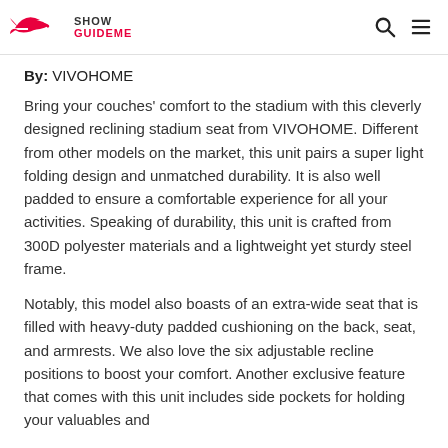Show GuideMe
By: VIVOHOME
Bring your couches' comfort to the stadium with this cleverly designed reclining stadium seat from VIVOHOME. Different from other models on the market, this unit pairs a super light folding design and unmatched durability. It is also well padded to ensure a comfortable experience for all your activities. Speaking of durability, this unit is crafted from 300D polyester materials and a lightweight yet sturdy steel frame.
Notably, this model also boasts of an extra-wide seat that is filled with heavy-duty padded cushioning on the back, seat, and armrests. We also love the six adjustable recline positions to boost your comfort. Another exclusive feature that comes with this unit includes side pockets for holding your valuables and